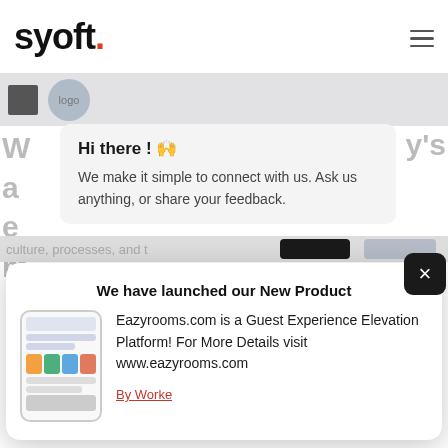[Figure (screenshot): Syoft logo in top-left with hamburger menu icon on the right]
[Figure (screenshot): Chat popup with avatar logo circle, 'Hi there! 👋' heading and message 'We make it simple to connect with us. Ask us anything, or share your feedback.']
[Figure (screenshot): Notification card: 'We have launched our New Product' with phone image and text 'Eazyrooms.com is a Guest Experience Elevation Platform! For More Details visit www.eazyrooms.com' and 'By Worke' link, plus X close button]